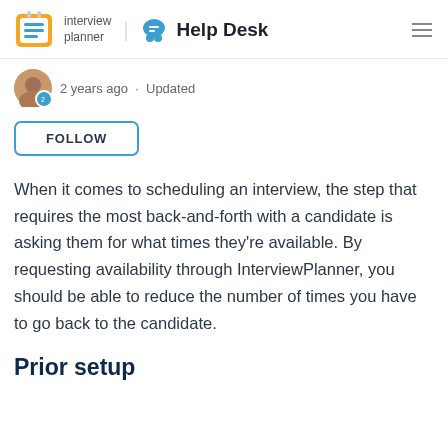interview planner  Help Desk
2 years ago · Updated
FOLLOW
When it comes to scheduling an interview, the step that requires the most back-and-forth with a candidate is asking them for what times they're available. By requesting availability through InterviewPlanner, you should be able to reduce the number of times you have to go back to the candidate.
Prior setup